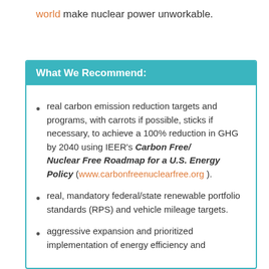world make nuclear power unworkable.
What We Recommend:
real carbon emission reduction targets and programs, with carrots if possible, sticks if necessary, to achieve a 100% reduction in GHG by 2040 using IEER's Carbon Free/Nuclear Free Roadmap for a U.S. Energy Policy (www.carbonfreenuclearfree.org ).
real, mandatory federal/state renewable portfolio standards (RPS) and vehicle mileage targets.
aggressive expansion and prioritized implementation of energy efficiency and